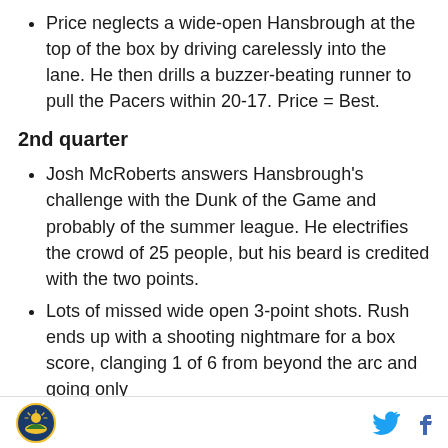Price neglects a wide-open Hansbrough at the top of the box by driving carelessly into the lane. He then drills a buzzer-beating runner to pull the Pacers within 20-17. Price = Best.
2nd quarter
Josh McRoberts answers Hansbrough's challenge with the Dunk of the Game and probably of the summer league. He electrifies the crowd of 25 people, but his beard is credited with the two points.
Lots of missed wide open 3-point shots. Rush ends up with a shooting nightmare for a box score, clanging 1 of 6 from beyond the arc and going only